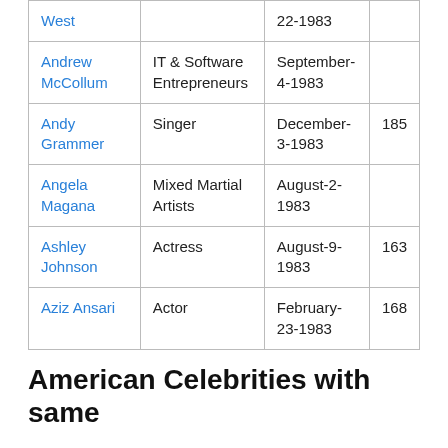| Name | Profession | Born |  |
| --- | --- | --- | --- |
| West |  | 22-1983 |  |
| Andrew McCollum | IT & Software Entrepreneurs | September-4-1983 |  |
| Andy Grammer | Singer | December-3-1983 | 185 |
| Angela Magana | Mixed Martial Artists | August-2-1983 |  |
| Ashley Johnson | Actress | August-9-1983 | 163 |
| Aziz Ansari | Actor | February-23-1983 | 168 |
American Celebrities with same